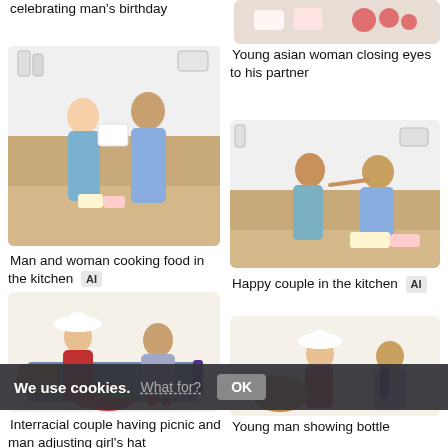celebrating man's birthday
[Figure (photo): Cropped top of birthday party scene with cakes and tomatoes]
[Figure (photo): Man and woman in kitchen with birthday cake, woman giving gift]
Young asian woman closing eyes to his partner
Man and woman cooking food in the kitchen AI
[Figure (photo): Happy couple in kitchen, woman feeding man cake]
[Figure (photo): Interracial couple having picnic with watermelon]
Happy couple in the kitchen AI
Interracial couple having picnic and man adjusting girl's hat
[Figure (photo): Young man showing bottle to friend at picnic]
Young man showing bottle of wine to friend
We use cookies. What for? OK